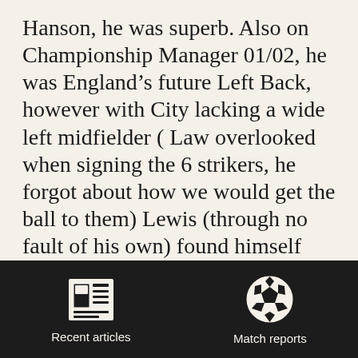Hanson, he was superb. Also on Championship Manager 01/02, he was England's future Left Back, however with City lacking a wide left midfielder ( Law overlooked when signing the 6 strikers, he forgot about how we would get the ball to them) Lewis (through no fault of his own) found himself playing on the left of midfield. Although he has one trick, cant cross and isn't the paciest player,
[Figure (infographic): Dark navigation bar with two icons: a newspaper icon labeled 'Recent articles' and a soccer ball icon labeled 'Match reports']